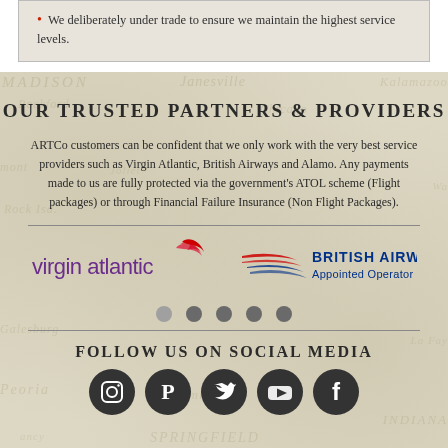We deliberately under trade to ensure we maintain the highest service levels.
OUR TRUSTED PARTNERS & PROVIDERS
ARTCo customers can be confident that we only work with the very best service providers such as Virgin Atlantic, British Airways and Alamo. Any payments made to us are fully protected via the government's ATOL scheme (Flight packages) or through Financial Failure Insurance (Non Flight Packages).
[Figure (logo): Virgin Atlantic logo — purple text with a red swoosh/lady logo]
[Figure (logo): British Airways Appointed Operator logo — red and blue stripes with text]
FOLLOW US ON SOCIAL MEDIA
[Figure (infographic): Five social media icons: Instagram, Pinterest, Twitter, YouTube, Facebook — dark circular icons]